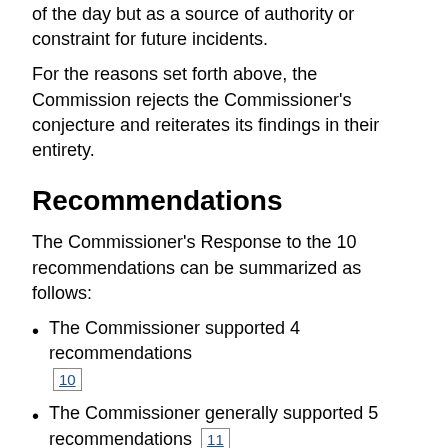of the day but as a source of authority or constraint for future incidents.
For the reasons set forth above, the Commission rejects the Commissioner's conjecture and reiterates its findings in their entirety.
Recommendations
The Commissioner's Response to the 10 recommendations can be summarized as follows:
The Commissioner supported 4 recommendations [10]
The Commissioner generally supported 5 recommendations [11]
The Commissioner did not express either support or disagreement with 1 recommendation [12]
The Commission will review the Commissioner's comments as they pertain to the six recommendations that he did not fully support.